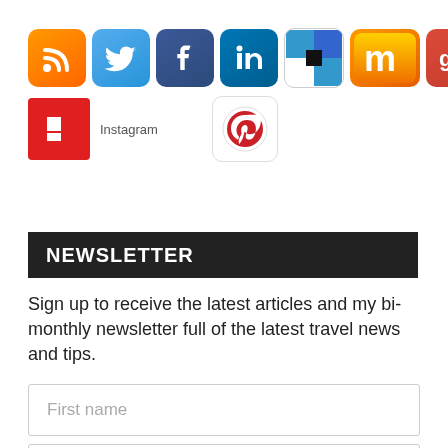[Figure (illustration): Row of social media icons: RSS (orange), Twitter (blue bird), Facebook (blue f), LinkedIn (blue in), Delicious (blue/white), Mig.me (orange M), Google+ (red g+), and second row: Flipboard (red F), Instagram (camera), Pinterest (red P circle)]
NEWSLETTER
Sign up to receive the latest articles and my bi-monthly newsletter full of the latest travel news and tips.
First name
Last name